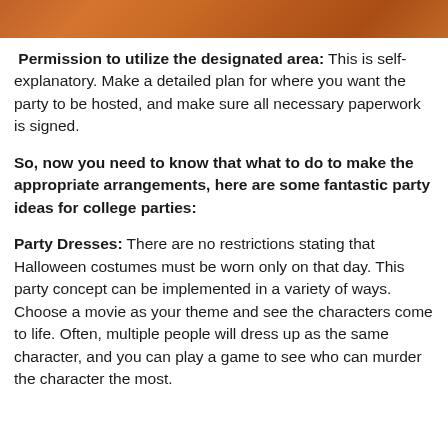[Figure (photo): Decorative orange/brown wooden background photo strip at top of page]
Permission to utilize the designated area: This is self-explanatory. Make a detailed plan for where you want the party to be hosted, and make sure all necessary paperwork is signed.
So, now you need to know that what to do to make the appropriate arrangements, here are some fantastic party ideas for college parties:
Party Dresses: There are no restrictions stating that Halloween costumes must be worn only on that day. This party concept can be implemented in a variety of ways. Choose a movie as your theme and see the characters come to life. Often, multiple people will dress up as the same character, and you can play a game to see who can murder the character the most.